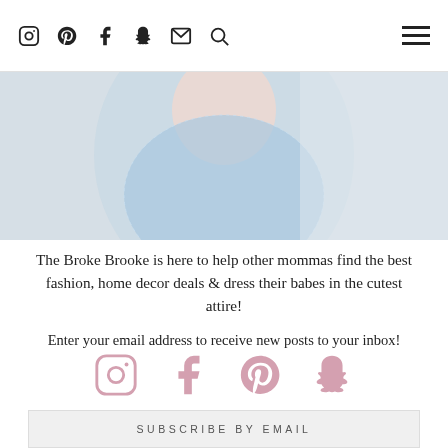Navigation bar with social icons: Instagram, Pinterest, Facebook, Snapchat, Email, Search — and hamburger menu
[Figure (photo): Partial cropped photo of a person wearing a light blue lace/embroidered outfit, visible from roughly chin to waist, with soft pastel background]
The Broke Brooke is here to help other mommas find the best fashion, home decor deals & dress their babes in the cutest attire!
[Figure (illustration): Four pink social media icons: Instagram, Facebook, Pinterest, Snapchat]
SUBSCRIBE BY EMAIL
Enter your email address to receive new posts to your inbox!
Your email address